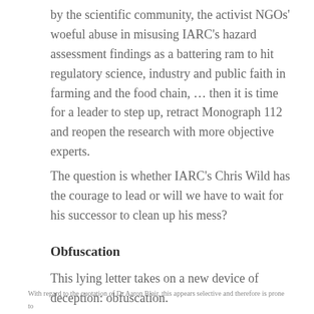by the scientific community, the activist NGOs' woeful abuse in misusing IARC's hazard assessment findings as a battering ram to hit regulatory science, industry and public faith in farming and the food chain, … then it is time for a leader to step up, retract Monograph 112 and reopen the research with more objective experts.
The question is whether IARC's Chris Wild has the courage to lead or will we have to wait for his successor to clean up his mess?
Obfuscation
This lying letter takes on a new device of deception: obfuscation.
With regard to the quotation of Dr Aaron Blair, this appears selective and therefore is prone to